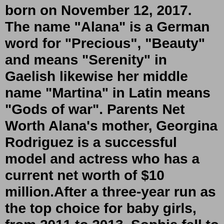born on November 12, 2017. The name "Alana" is a German word for "Precious", "Beauty" and means "Serenity" in Gaelish likewise her middle name "Martina" in Latin means "Gods of war". Parents Net Worth Alana's mother, Georgina Rodriguez is a successful model and actress who has a current net worth of $10 million.After a three-year run as the top choice for baby girls, from 2011 to 2013, Sophia fell to third place in 2014 and 2015 and fourth in 2016 and fifth in 2017 behind Emma, Olivia and Ava. To find ... smart recovery Alana Haim at Way Out West in 2013 (Kim Metso / Wikimedia / CC BY-SA 3.0) Best Known For. Being one-third of the indie rock band Haim which also includes her 2 sisters. First Album. As a member of Haim, Alana's debut album Days Are Gone was released in September 2013 by the British record label, Polydor.. First TV Show. Alana made her first TV show appearance as a part of Haim, on the talk ...Girl names that go with ALANA. This list of names will help you quickly find the perfect baby middle name based on your baby girl name. ALANA